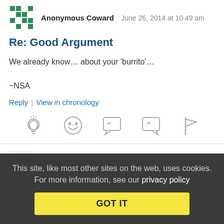Anonymous Coward   June 26, 2014 at 10:49 am
Re: Good Argument
We already know… about your 'burrito'…

~NSA
Reply | View in chronology
[Figure (infographic): Row of five comment action icons: lightbulb, laughing face, quote bubble open, quote bubble close, flag]
Jimmy59 (profile)   June 26, 2014 at 11:03 am
This site, like most other sites on the web, uses cookies. For more information, see our privacy policy
GOT IT